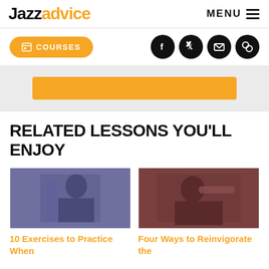Jazzadvice — MENU
COURSES (button) + social icons (Facebook, Twitter, Email, Link)
[Figure (other): Orange call-to-action button/bar on light grey background]
RELATED LESSONS YOU'LL ENJOY
[Figure (photo): Black and white photo tinted purple/blue of a jazz musician playing saxophone]
10 Exercises to Practice When
[Figure (photo): Photo tinted red/brown of a jazz musician playing trumpet]
Four Ways to Reinvigorate the